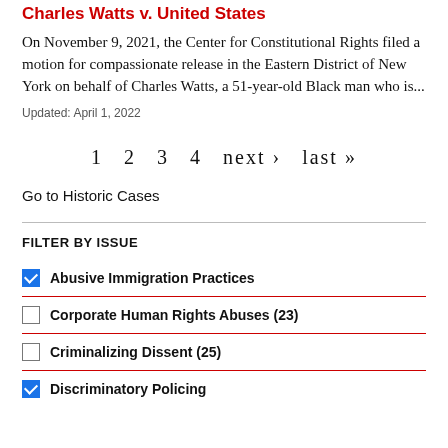Charles Watts v. United States
On November 9, 2021, the Center for Constitutional Rights filed a motion for compassionate release in the Eastern District of New York on behalf of Charles Watts, a 51-year-old Black man who is...
Updated: April 1, 2022
1  2  3  4  next ›  last »
Go to Historic Cases
FILTER BY ISSUE
Abusive Immigration Practices
Corporate Human Rights Abuses (23)
Criminalizing Dissent (25)
Discriminatory Policing